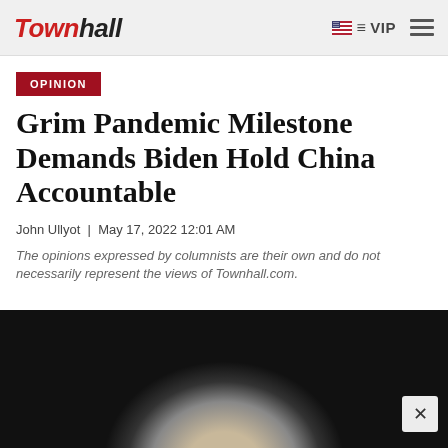Townhall | VIP
OPINION
Grim Pandemic Milestone Demands Biden Hold China Accountable
John Ullyot  |  May 17, 2022 12:01 AM
The opinions expressed by columnists are their own and do not necessarily represent the views of Townhall.com.
[Figure (photo): Partial view of an elderly man's head with white/gray hair against a dark background, cropped at the bottom of the page.]